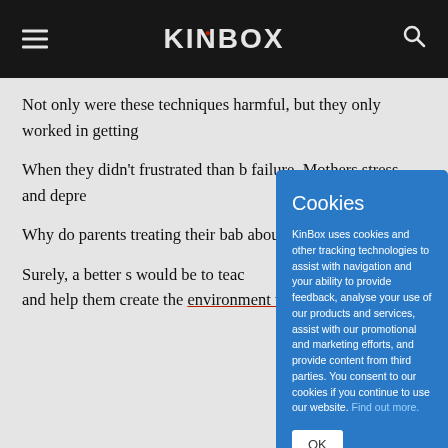KinBox
Not only were these techniques harmful, but they only worked in getting
When they didn't frustrated than b failure. Mothers stress and depre
Why do parents treating their bab about the pressu
Surely, a better s would be to teac and help them create the environment they need to do that?
[Figure (screenshot): Cookie consent modal overlay on the KinBox website. Blue modal with title 'Cookies', explanatory text about tracking technologies, a 'Find out more.' link, and an 'OK' button.]